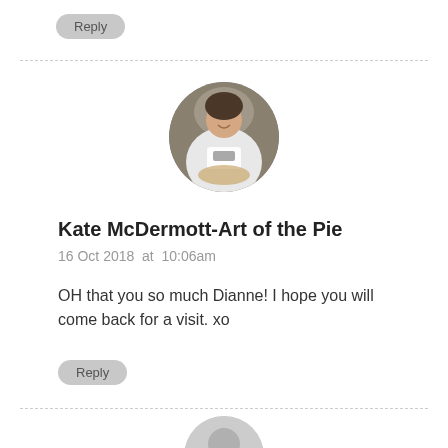Reply
[Figure (photo): Circular avatar photo of Kate McDermott, a woman in a white top holding a pie, smiling indoors]
Kate McDermott-Art of the Pie
16 Oct 2018  at  10:06am
OH that you so much Dianne! I hope you will come back for a visit. xo
Reply
[Figure (photo): Partial circular avatar placeholder at the bottom of the page, light gray]